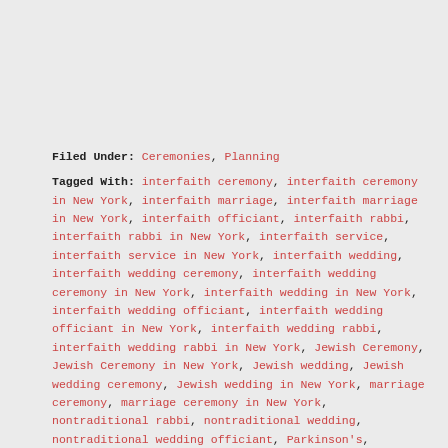Filed Under: Ceremonies, Planning
Tagged With: interfaith ceremony, interfaith ceremony in New York, interfaith marriage, interfaith marriage in New York, interfaith officiant, interfaith rabbi, interfaith rabbi in New York, interfaith service, interfaith service in New York, interfaith wedding, interfaith wedding ceremony, interfaith wedding ceremony in New York, interfaith wedding in New York, interfaith wedding officiant, interfaith wedding officiant in New York, interfaith wedding rabbi, interfaith wedding rabbi in New York, Jewish Ceremony, Jewish Ceremony in New York, Jewish wedding, Jewish wedding ceremony, Jewish wedding in New York, marriage ceremony, marriage ceremony in New York, nontraditional rabbi, nontraditional wedding, nontraditional wedding officiant, Parkinson's, planning an interfaith wedding, planning an interfaith wedding in New York, Rabbi Gloria Milner